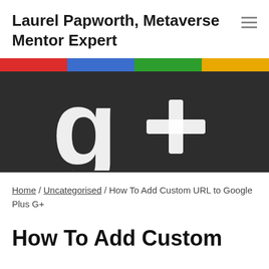Laurel Papworth, Metaverse Mentor Expert
[Figure (photo): Google Plus G+ logo on dark background with colorful top bar (red, blue, green, gold)]
Home / Uncategorised / How To Add Custom URL to Google Plus G+
How To Add Custom